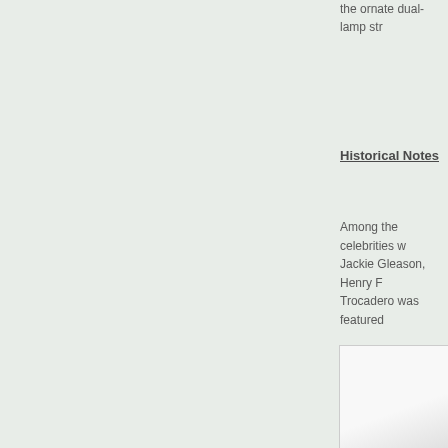the ornate dual-lamp str
Historical Notes
Among the celebrities w Jackie Gleason, Henry F Trocadero was featured
[Figure (photo): A partially visible photograph, appearing light/white in color, likely showing the Trocadero or related subject matter]